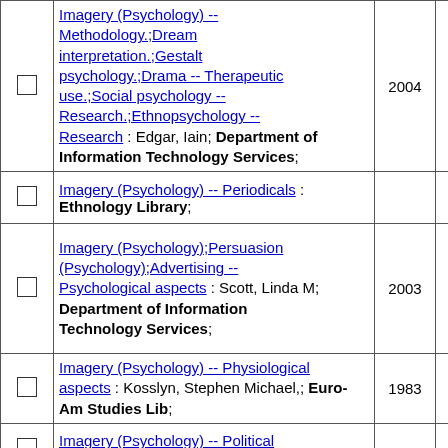|  | Description | Year | Count |
| --- | --- | --- | --- |
| ☐ | Imagery (Psychology) -- Methodology.;Dream interpretation.;Gestalt psychology.;Drama -- Therapeutic use.;Social psychology -- Research.;Ethnopsychology -- Research : Edgar, Iain; Department of Information Technology Services; | 2004 | 1 |
| ☐ | Imagery (Psychology) -- Periodicals : Ethnology Library; |  | 1 |
| ☐ | Imagery (Psychology);Persuasion (Psychology);Advertising -- Psychological aspects : Scott, Linda M; Department of Information Technology Services; | 2003 | 1 |
| ☐ | Imagery (Psychology) -- Physiological aspects : Kosslyn, Stephen Michael,; Euro-Am Studies Lib; | 1983 | 1 |
| ☐ | Imagery (Psychology) -- Political aspects |  | 6 |
| ☐ | Imagery (Psychology);Space perception.;Visual perception.;Mental representation : Vecchi, Tomaso; Department of Information... | 2006 | 1 |